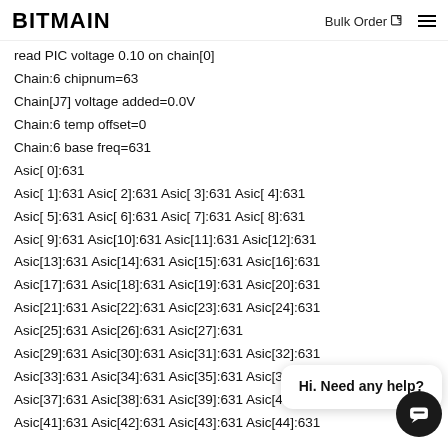BITMAIN  Bulk Order
read PIC voltage 0.10 on chain[0]
Chain:6 chipnum=63
Chain[J7] voltage added=0.0V
Chain:6 temp offset=0
Chain:6 base freq=631
Asic[ 0]:631
Asic[ 1]:631 Asic[ 2]:631 Asic[ 3]:631 Asic[ 4]:631
Asic[ 5]:631 Asic[ 6]:631 Asic[ 7]:631 Asic[ 8]:631
Asic[ 9]:631 Asic[10]:631 Asic[11]:631 Asic[12]:631
Asic[13]:631 Asic[14]:631 Asic[15]:631 Asic[16]:631
Asic[17]:631 Asic[18]:631 Asic[19]:631 Asic[20]:631
Asic[21]:631 Asic[22]:631 Asic[23]:631 Asic[24]:631
Asic[25]:631 Asic[26]:631 Asic[27]:631 Asic[28]:631
Asic[29]:631 Asic[30]:631 Asic[31]:631 Asic[32]:631
Asic[33]:631 Asic[34]:631 Asic[35]:631 Asic[36]:631
Asic[37]:631 Asic[38]:631 Asic[39]:631 Asic[40]:631
Asic[41]:631 Asic[42]:631 Asic[43]:631 Asic[44]:631